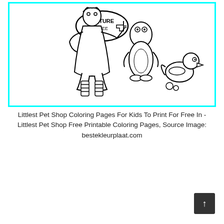[Figure (illustration): Black and white coloring page illustration of a child holding a sign that says 'PICTURE FREE' with a penguin-like character and a rubber duck. Framed with a cyan border.]
Littlest Pet Shop Coloring Pages For Kids To Print For Free In - Littlest Pet Shop Free Printable Coloring Pages, Source Image: bestekleurplaat.com